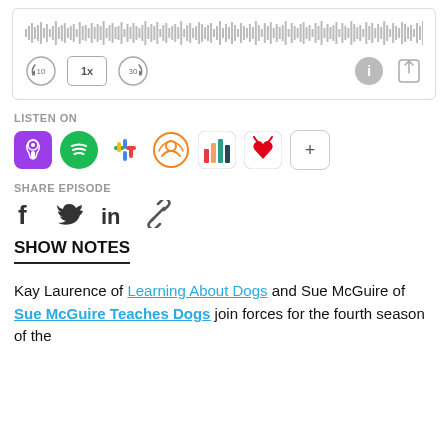[Figure (other): Audio player widget with waveform visualization and playback controls (rewind 10s, 1x speed, forward 30s, info button, share button)]
LISTEN ON
[Figure (other): Podcast platform icons: Apple Podcasts (purple), Spotify (green), Google Podcasts (colorful), Overcast (orange), Chartable (colorful bars), iHeartRadio (red heart), plus more button]
SHARE EPISODE
[Figure (other): Social share icons: Facebook (f), Twitter (bird), LinkedIn (in), link/chain icon]
SHOW NOTES
Kay Laurence of Learning About Dogs and Sue McGuire of Sue McGuire Teaches Dogs join forces for the fourth season of the